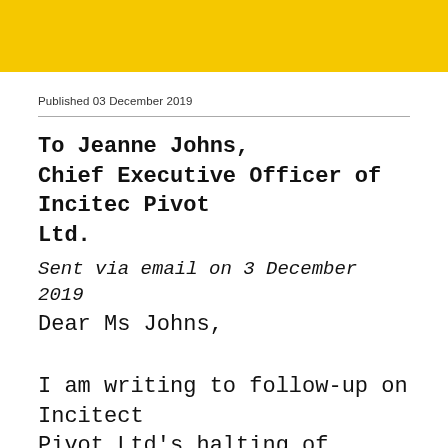[Figure (other): Yellow banner/header bar at top of page]
Published 03 December 2019
To Jeanne Johns,
Chief Executive Officer of Incitec Pivot Ltd.
Sent via email on 3 December 2019
Dear Ms Johns,
I am writing to follow-up on Incitect Pivot Ltd's halting of phosphate rock